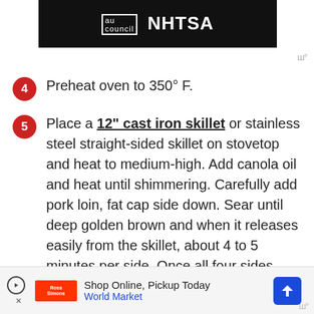[Figure (logo): NHTSA logo with AU Council icon on black background banner]
Preheat oven to 350° F.
Place a 12" cast iron skillet or stainless steel straight-sided skillet on stovetop and heat to medium-high. Add canola oil and heat until shimmering. Carefully add pork loin, fat cap side down. Sear until deep golden brown and when it releases easily from the skillet, about 4 to 5 minutes per side. Once all four sides have browned, transfer pork loin with the fat cap facing up to a rack set inside a roasting
Shop Online, Pickup Today — World Market (advertisement)